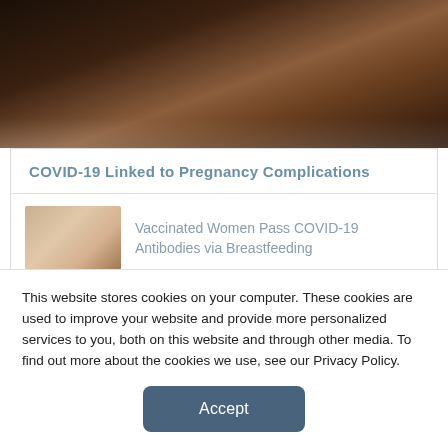[Figure (photo): Close-up photo of a pregnant woman's belly area in warm dark tones]
COVID-19 Linked to Pregnancy Complications
Vaccinated Women Pass COVID-19 Antibodies via Breastfeeding
Complications in Pregnancy and Birth Increase with COVID-19 Infection
CDC Advisory Urges More Vaccination by
This website stores cookies on your computer. These cookies are used to improve your website and provide more personalized services to you, both on this website and through other media. To find out more about the cookies we use, see our Privacy Policy.
Accept